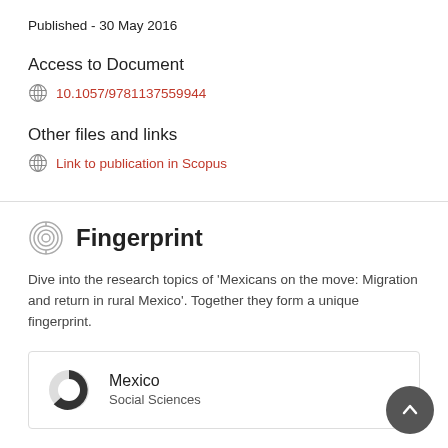Published - 30 May 2016
Access to Document
10.1057/9781137559944
Other files and links
Link to publication in Scopus
Fingerprint
Dive into the research topics of 'Mexicans on the move: Migration and return in rural Mexico'. Together they form a unique fingerprint.
Mexico
Social Sciences